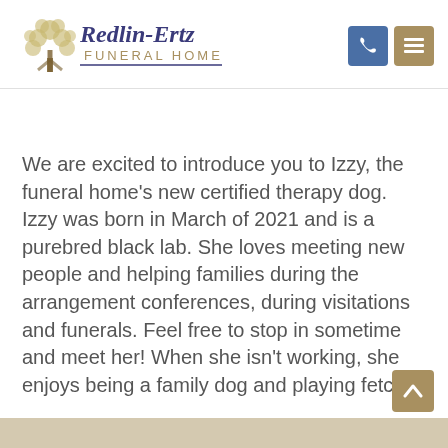[Figure (logo): Redlin-Ertz Funeral Home logo with stylized tree and text]
We are excited to introduce you to Izzy, the funeral home's new certified therapy dog. Izzy was born in March of 2021 and is a purebred black lab. She loves meeting new people and helping families during the arrangement conferences, during visitations and funerals. Feel free to stop in sometime and meet her! When she isn't working, she enjoys being a family dog and playing fetch.